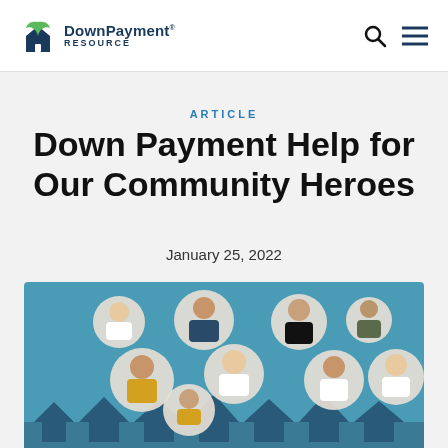Down Payment Resource
ARTICLE
Down Payment Help for Our Community Heroes
January 25, 2022
[Figure (illustration): Illustration showing community heroes (doctor, teacher, firefighter, sailor, police officer, soldier, chef, nurse, healthcare worker, athlete) as circular portrait icons arranged on a teal background above a row of house silhouettes.]